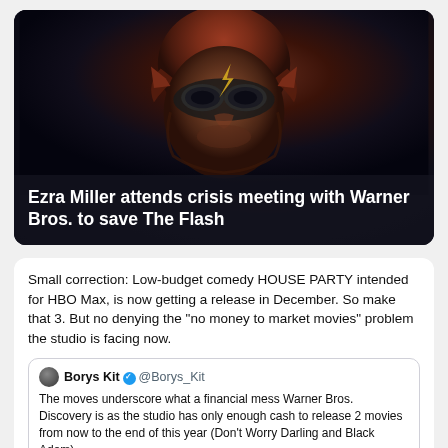[Figure (photo): Dark dramatic photo of The Flash character wearing a red helmet with lightning bolt emblem, close-up portrait against dark background]
Ezra Miller attends crisis meeting with Warner Bros. to save The Flash
Small correction: Low-budget comedy HOUSE PARTY intended for HBO Max, is now getting a release in December. So make that 3. But no denying the "no money to market movies" problem the studio is facing now.
Borys Kit @Borys_Kit
The moves underscore what a financial mess Warner Bros. Discovery is as the studio has only enough cash to release 2 movies from now to the end of this year (Don't Worry Darling and Black Adam).
Warner Bros. reportedly only has funds to market two big movies this year
12:12 AM · Aug 25, 2022